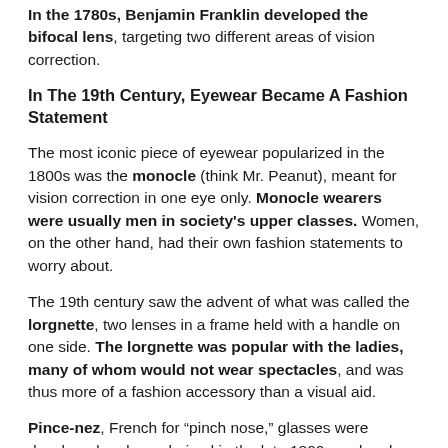In the 1780s, Benjamin Franklin developed the bifocal lens, targeting two different areas of vision correction.
In The 19th Century, Eyewear Became A Fashion Statement
The most iconic piece of eyewear popularized in the 1800s was the monocle (think Mr. Peanut), meant for vision correction in one eye only. Monocle wearers were usually men in society's upper classes. Women, on the other hand, had their own fashion statements to worry about.
The 19th century saw the advent of what was called the lorgnette, two lenses in a frame held with a handle on one side. The lorgnette was popular with the ladies, many of whom would not wear spectacles, and was thus more of a fashion accessory than a visual aid.
Pince-nez, French for “pinch nose,” glasses were developed and popularized in the late 1800s and early